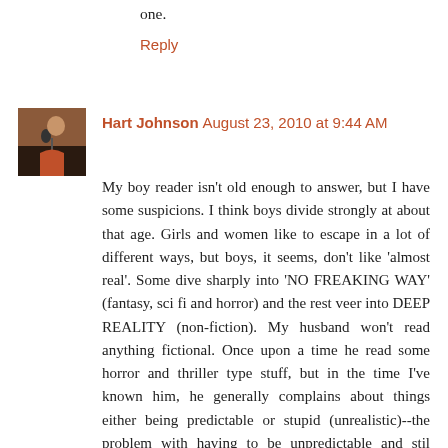one.
Reply
Hart Johnson  August 23, 2010 at 9:44 AM
My boy reader isn't old enough to answer, but I have some suspicions. I think boys divide strongly at about that age. Girls and women like to escape in a lot of different ways, but boys, it seems, don't like 'almost real'. Some dive sharply into 'NO FREAKING WAY' (fantasy, sci fi and horror) and the rest veer into DEEP REALITY (non-fiction). My husband won't read anything fictional. Once upon a time he read some horror and thriller type stuff, but in the time I've known him, he generally complains about things either being predictable or stupid (unrealistic)--the problem with having to be unpredictable and stil realistic is that is a very fine line to hit.

I think women are better at 'letting go'. Men either don't want to, or need the book to take them FARTHER in order to do it. Or so I see it.